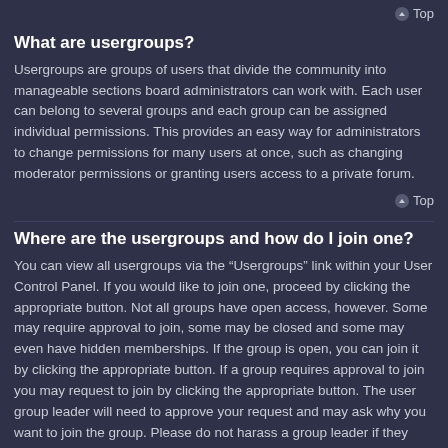Top
What are usergroups?
Usergroups are groups of users that divide the community into manageable sections board administrators can work with. Each user can belong to several groups and each group can be assigned individual permissions. This provides an easy way for administrators to change permissions for many users at once, such as changing moderator permissions or granting users access to a private forum.
Top
Where are the usergroups and how do I join one?
You can view all usergroups via the “Usergroups” link within your User Control Panel. If you would like to join one, proceed by clicking the appropriate button. Not all groups have open access, however. Some may require approval to join, some may be closed and some may even have hidden memberships. If the group is open, you can join it by clicking the appropriate button. If a group requires approval to join you may request to join by clicking the appropriate button. The user group leader will need to approve your request and may ask why you want to join the group. Please do not harass a group leader if they reject your request; they will have their reasons.
Top
How do I become a usergroup leader?